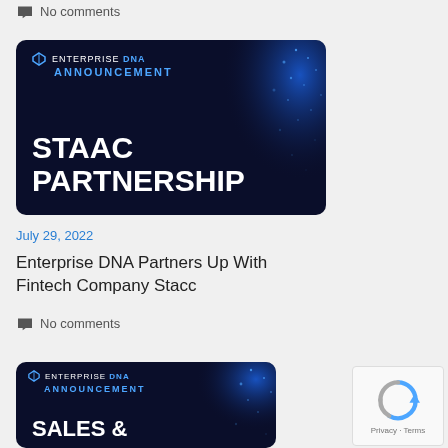No comments
[Figure (illustration): Enterprise DNA Announcement banner with dark navy background and blue dot pattern, showing 'STAAC PARTNERSHIP' in large white bold text]
July 29, 2022
Enterprise DNA Partners Up With Fintech Company Stacc
No comments
[Figure (illustration): Enterprise DNA Announcement banner with dark navy background and blue dot pattern, showing 'SALES &' in large white bold text (partially visible)]